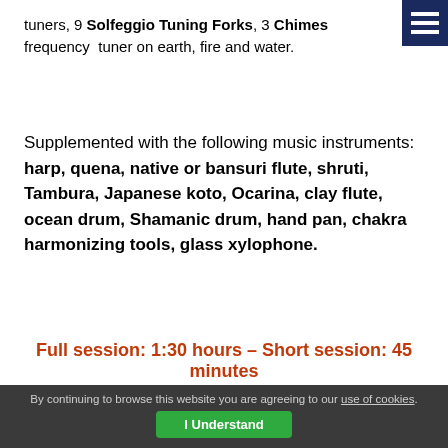tuners, 9 Solfeggio Tuning Forks, 3 Chimes frequency tuner on earth, fire and water.
Supplemented with the following music instruments: harp, quena, native or bansuri flute, shruti, Tambura, Japanese koto, Ocarina, clay flute, ocean drum, Shamanic drum, hand pan, chakra harmonizing tools, glass xylophone.
Full session: 1:30 hours – Short session: 45 minutes
© Music & Sound Healing 2023: All Rights Reserved
By continuing to browse this website you are agreeing to our use of cookies. I Understand